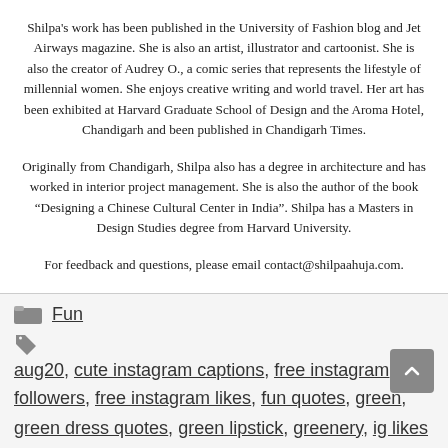Shilpa's work has been published in the University of Fashion blog and Jet Airways magazine. She is also an artist, illustrator and cartoonist. She is also the creator of Audrey O., a comic series that represents the lifestyle of millennial women. She enjoys creative writing and world travel. Her art has been exhibited at Harvard Graduate School of Design and the Aroma Hotel, Chandigarh and been published in Chandigarh Times.
Originally from Chandigarh, Shilpa also has a degree in architecture and has worked in interior project management. She is also the author of the book “Designing a Chinese Cultural Center in India”. Shilpa has a Masters in Design Studies degree from Harvard University.
For feedback and questions, please email contact@shilpaahuja.com.
Fun
aug20, cute instagram captions, free instagram followers, free instagram likes, fun quotes, green, green dress quotes, green lipstick, greenery, ig likes